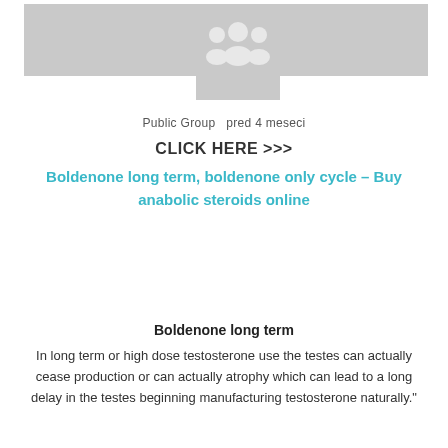[Figure (illustration): Website group banner image with gray background panels on left and right, and a centered group/people icon (silhouettes of three people) on a gray background in the middle]
Public Group   pred 4 meseci
CLICK HERE >>>
Boldenone long term, boldenone only cycle – Buy anabolic steroids online
Boldenone long term
In long term or high dose testosterone use the testes can actually cease production or can actually atrophy which can lead to a long delay in the testes beginning manufacturing testosterone naturally."